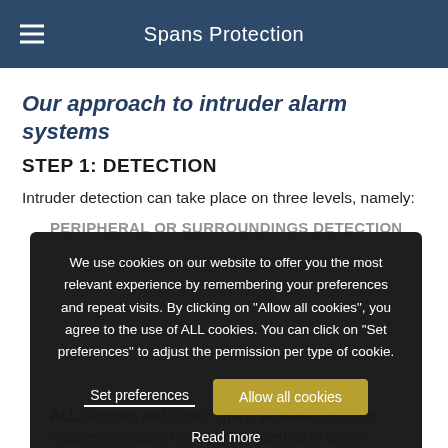Spans Protection
Our approach to intruder alarm systems
STEP 1: DETECTION
Intruder detection can take place on three levels, namely:
PERIPHERAL or surroundings detection
[Figure (screenshot): Cookie consent overlay with text about cookie usage, 'Set preferences' and 'Allow all cookies' buttons, and 'Read more' link]
ALL windows and doors. This is achieved by fitting magnetic contacts to detect the opening of doors